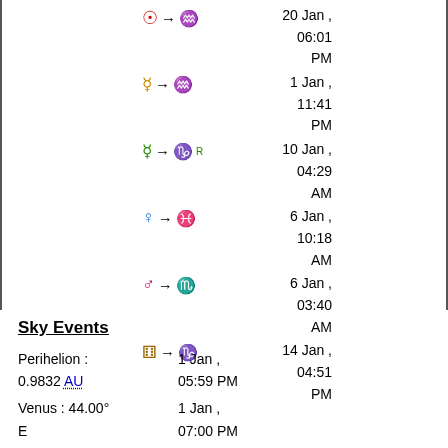| Symbol | Date/Time |
| --- | --- |
| ☉ → ♒ | 20 Jan , 06:01 PM |
| ☿ → ♒ | 1 Jan , 11:41 PM |
| ☿ → ♑ Rx | 10 Jan , 04:29 AM |
| ♀ → ♓ | 6 Jan , 10:18 AM |
| ♂ → ♏ | 6 Jan , 03:40 AM |
| ⚷ → ♑ | 14 Jan , 04:51 PM |
Sky Events
Perihelion : 0.9832 AU
1 Jan , 05:59 PM
Venus : 44.00° E
1 Jan , 07:00 PM